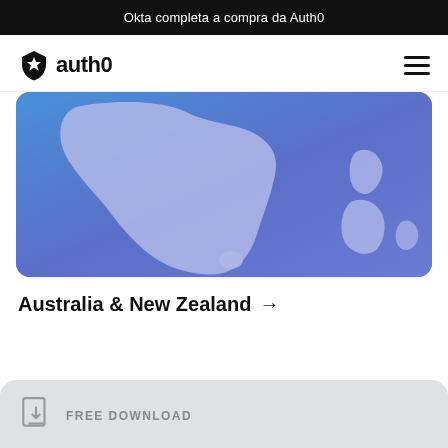Okta completa a compra da Auth0
[Figure (logo): Auth0 logo — shield icon with star and 'auth0' text]
[Figure (map): Stylized blue map showing Australia and New Zealand region]
Australia & New Zealand →
FREE DOWNLOAD